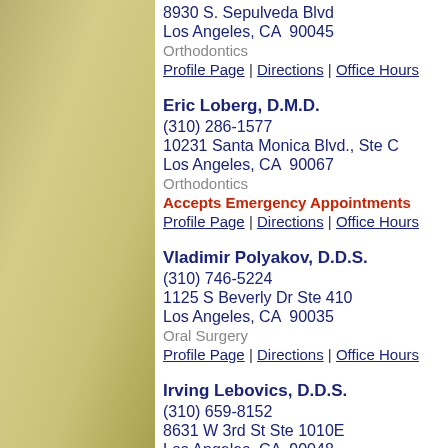8930 S. Sepulveda Blvd
Los Angeles, CA  90045
Orthodontics
Profile Page | Directions | Office Hours
Eric Loberg, D.M.D.
(310) 286-1577
10231 Santa Monica Blvd., Ste C
Los Angeles, CA  90067
Orthodontics
Accepts Emergency Appointments
Profile Page | Directions | Office Hours
Vladimir Polyakov, D.D.S.
(310) 746-5224
1125 S Beverly Dr Ste 410
Los Angeles, CA  90035
Oral Surgery
Profile Page | Directions | Office Hours
Irving Lebovics, D.D.S.
(310) 659-8152
8631 W 3rd St Ste 1010E
Los Angeles, CA  90048